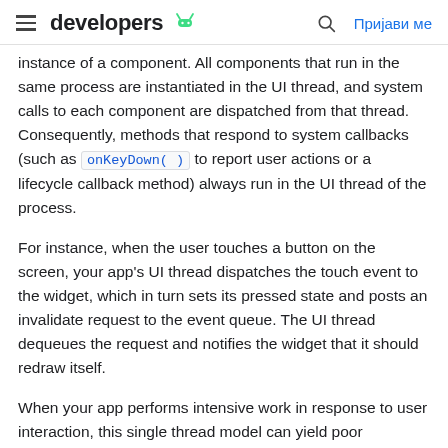developers | Prijavi me
instance of a component. All components that run in the same process are instantiated in the UI thread, and system calls to each component are dispatched from that thread. Consequently, methods that respond to system callbacks (such as onKeyDown() to report user actions or a lifecycle callback method) always run in the UI thread of the process.
For instance, when the user touches a button on the screen, your app's UI thread dispatches the touch event to the widget, which in turn sets its pressed state and posts an invalidate request to the event queue. The UI thread dequeues the request and notifies the widget that it should redraw itself.
When your app performs intensive work in response to user interaction, this single thread model can yield poor